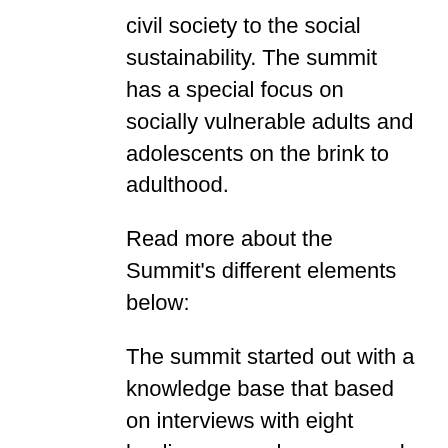civil society to the social sustainability. The summit has a special focus on socially vulnerable adults and adolescents on the brink to adulthood.
Read more about the Summit's different elements below:
The summit started out with a knowledge base that based on interviews with eight leading researchers mapped out the Civil Societies different roles, terms etc. across the Nordic countries. You can read the knowledge base here.
After that the civil society's own perspectives were brought into play, through eight digital roundtable conversations all over the Nordic